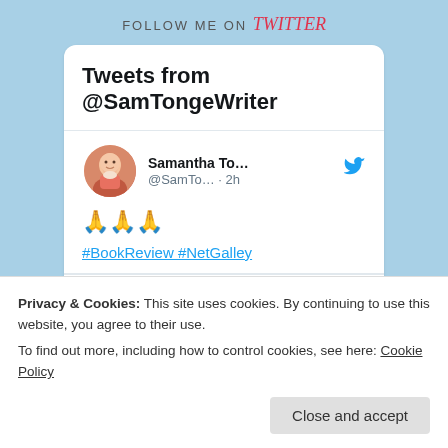FOLLOW ME ON twitter
Tweets from @SamTongeWriter
Samantha To…
@SamTo… · 2h
🙏🙏🙏 #BookReview #NetGalley
★★★★★
Absolutely fantastic! Could not put this book down once I started reading it. Will definitely recommend to everyone I know that enjoys
@SamTo… · 2h
Privacy & Cookies: This site uses cookies. By continuing to use this website, you agree to their use. To find out more, including how to control cookies, see here: Cookie Policy
Close and accept